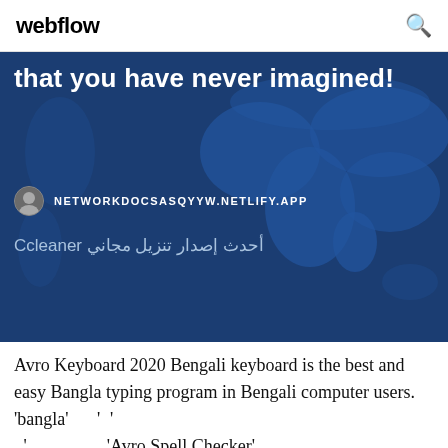webflow
[Figure (screenshot): Blue banner with world map background showing text 'that you have never imagined!' and URL NETWORKDOCSASQYYW.NETLIFY.APP with a small avatar icon, and Arabic text 'أحدث إصدار تنزيل مجاني Ccleaner']
Avro Keyboard 2020 Bengali keyboard is the best and easy Bangla typing program in Bengali computer users. 'bangla' ' ' ' ' 'Avro Spell Checker'